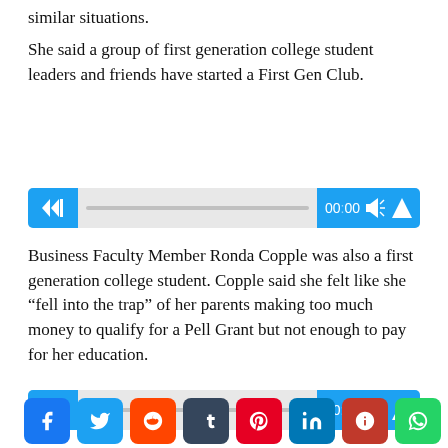similar situations.
She said a group of first generation college student leaders and friends have started a First Gen Club.
[Figure (other): Audio player widget with speaker icon, progress bar, time display 00:00, skip-back and play buttons in blue]
Business Faculty Member Ronda Copple was also a first generation college student. Copple said she felt like she “fell into the trap” of her parents making too much money to qualify for a Pell Grant but not enough to pay for her education.
[Figure (other): Audio player widget with speaker icon, progress bar, time display 00:00, skip-back and play buttons in blue]
[Figure (other): Social sharing buttons row: Facebook, Twitter, Reddit, Tumblr, Pinterest, LinkedIn, Parler, WhatsApp]